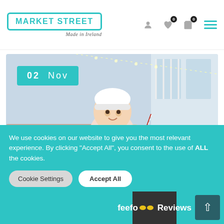[Figure (screenshot): Market Street Made in Ireland website header with teal logo, navigation icons (user, heart, cart with badge 0), and hamburger menu]
[Figure (photo): Baby wearing a red-striped reindeer Christmas sweater sitting among wrapped gifts and colorful pillows with a date badge reading 02 Nov in teal]
We use cookies on our website to give you the most relevant experience. By clicking “Accept All”, you consent to the use of ALL the cookies.
Cookie Settings
Accept All
[Figure (logo): Feefo logo with yellow eyes emoji and Reviews text on dark background bar]
feefo Reviews